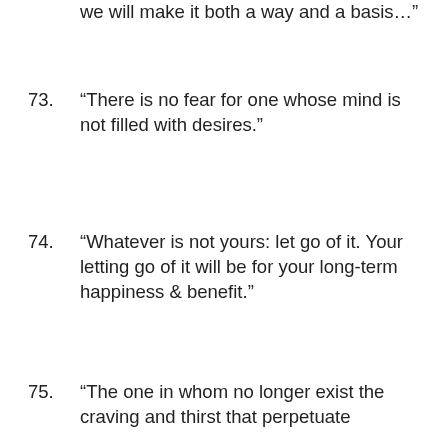we will make it both a way and a basis…”
73. “There is no fear for one whose mind is not filled with desires.”
74. “Whatever is not yours: let go of it. Your letting go of it will be for your long-term happiness & benefit.”
75. “The one in whom no longer exist the craving and thirst that perpetuate